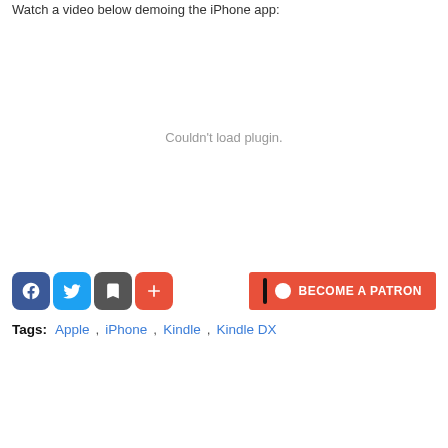Watch a video below demoing the iPhone app:
[Figure (other): Embedded video plugin area showing 'Couldn't load plugin.' message]
[Figure (other): Social share buttons: Facebook, Twitter, Save, Plus; and Patreon button]
Tags:  Apple ,  iPhone ,  Kindle ,  Kindle DX